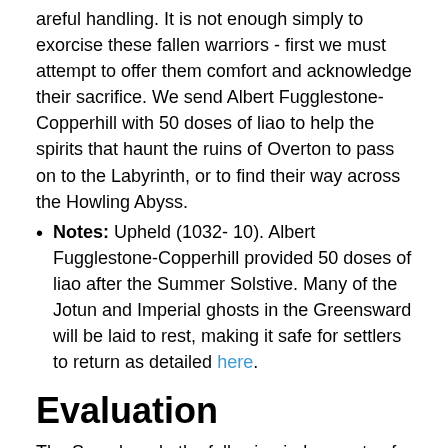areful handling. It is not enough simply to exorcise these fallen warriors - first we must attempt to offer them comfort and acknowledge their sacrifice. We send Albert Fugglestone-Copperhill with 50 doses of liao to help the spirits that haunt the ruins of Overton to pass on to the Labyrinth, or to find their way across the Howling Abyss.
Notes: Upheld (1032- 10). Albert Fugglestone-Copperhill provided 50 doses of liao after the Summer Solstive. Many of the Jotun and Imperial ghosts in the Greensward will be laid to rest, making it safe for settlers to return as detailed here.
Evaluation
The Synod made the following judgements of excommunication, inquisition, revocation, and sanction.
Judgement 6